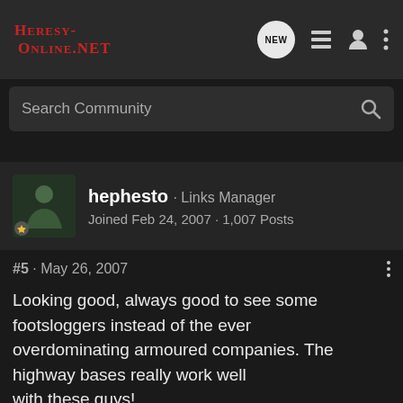HERESY-ONLINE.NET
Search Community
hephesto · Links Manager
Joined Feb 24, 2007 · 1,007 Posts
#5 · May 26, 2007
Looking good, always good to see some footsloggers instead of the ever
overdominating armoured companies. The highway bases really work well
with these guys!
Currently working on CSM (IW, Purge and Traitor Guard), Tyranids,